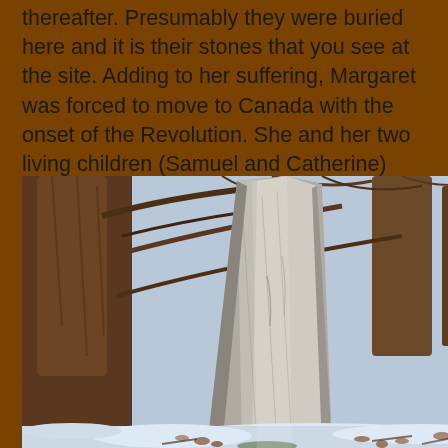thereafter. Presumably they were buried here and it is their stones that you see at the site. Adding to her suffering, Margaret was forced to move to Canada with the onset of the Revolution. She and her two living children (Samuel and Catherine) remained there for the rest of their lives.
[Figure (photo): A tall, weathered gray stone grave marker or standing stone in a wooded area with snow on the ground and dead leaves. Trees are visible in the background.]